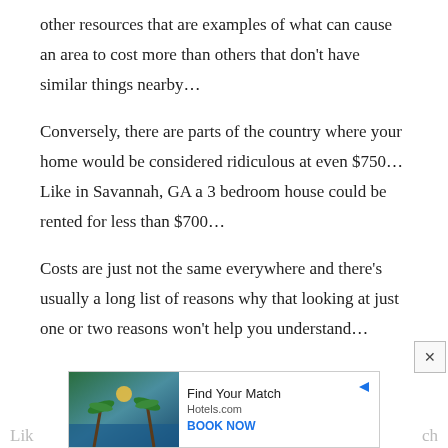other resources that are examples of what can cause an area to cost more than others that don't have similar things nearby…
Conversely, there are parts of the country where your home would be considered ridiculous at even $750… Like in Savannah, GA a 3 bedroom house could be rented for less than $700…
Costs are just not the same everywhere and there's usually a long list of reasons why that looking at just one or two reasons won't help you understand…
[Figure (other): Advertisement banner for Hotels.com: 'Find Your Match' with BOOK NOW call to action, featuring a scenic resort image with palm trees and water.]